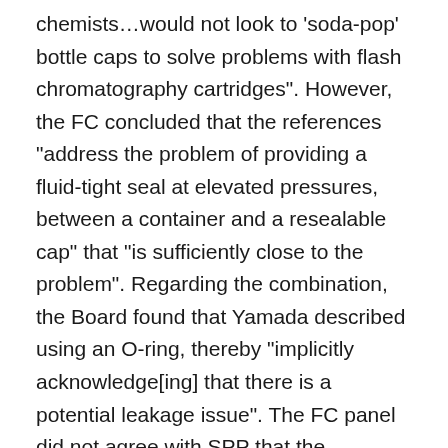chemists…would not look to 'soda-pop' bottle caps to solve problems with flash chromatography cartridges". However, the FC concluded that the references "address the problem of providing a fluid-tight seal at elevated pressures, between a container and a resealable cap" that "is sufficiently close to the problem". Regarding the combination, the Board found that Yamada described using an O-ring, thereby "implicitly acknowledge[ing] that there is a potential leakage issue". The FC panel did not agree with SPP that the conclusion regarding the combination required hindsight because "the issue here is not whether the Yamada cartridge leaked, but whether there was a concern with leakage in LPLC cartridges such that a person of ordinary skill would have provided a known pressure-resistance cap, as in King or Strassheimer, to the cartridge of Yamada". Thus, the